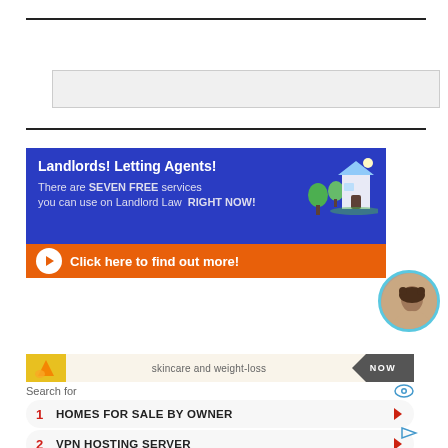[Figure (screenshot): Search input field with grey background]
[Figure (screenshot): SEARCH button, black background with white bold text]
[Figure (screenshot): Advertisement banner: blue background with text 'Landlords! Letting Agents! There are SEVEN FREE services you can use on Landlord Law RIGHT NOW!' with orange CTA button 'Click here to find out more!' and house illustration]
[Figure (screenshot): Teal chat bubble: 'Want to ask a Solicitor online now? I can connect you ...' with avatar and notification badge]
[Figure (screenshot): Skincare and weight-loss advertisement strip]
Search for
1  HOMES FOR SALE BY OWNER
2  VPN HOSTING SERVER